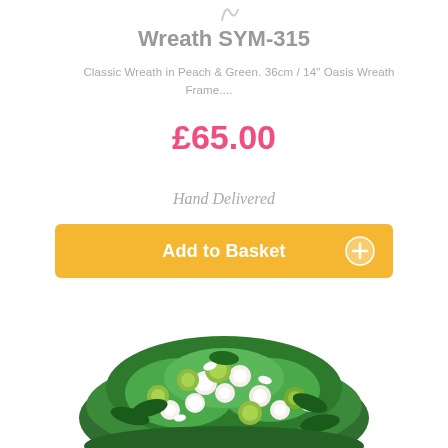Wreath SYM-315
Classic Wreath in Peach & Green. 36cm / 14" Oasis Wreath Frame....
£65.00
Hand Delivered
Add to Basket
[Figure (photo): A floral wreath arrangement with white roses, white alstroemeria, green chrysanthemums, and lush green foliage on a white background.]